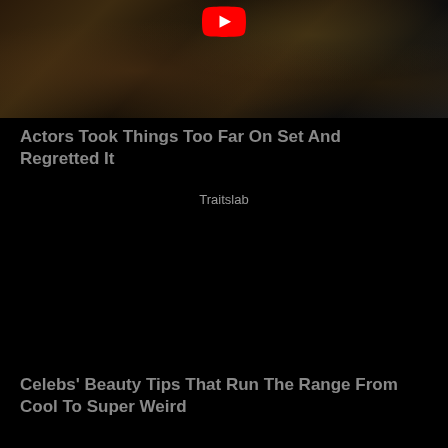[Figure (photo): Video thumbnail showing actors on set in a dark scene, with a red YouTube play button icon at the top center]
Actors Took Things Too Far On Set And Regretted It
Traitslab
[Figure (photo): Dark/black video thumbnail area for second video]
Celebs' Beauty Tips That Run The Range From Cool To Super Weird